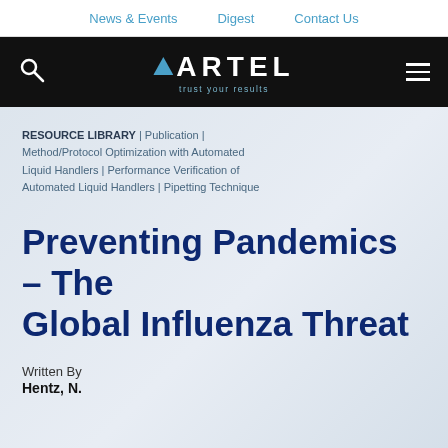News & Events | Digest | Contact Us
[Figure (logo): Artel logo with search icon on left and hamburger menu on right, white text on black background, tagline: trust your results]
RESOURCE LIBRARY | Publication | Method/Protocol Optimization with Automated Liquid Handlers | Performance Verification of Automated Liquid Handlers | Pipetting Technique
Preventing Pandemics – The Global Influenza Threat
Written By
Hentz, N.